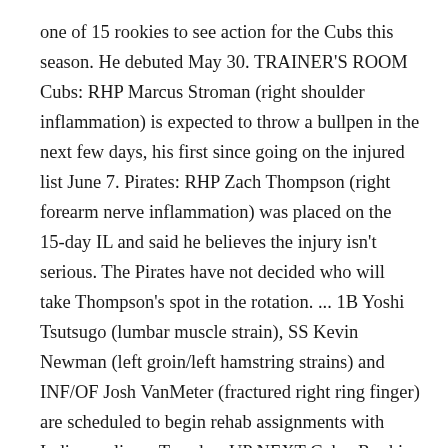one of 15 rookies to see action for the Cubs this season. He debuted May 30. TRAINER'S ROOM Cubs: RHP Marcus Stroman (right shoulder inflammation) is expected to throw a bullpen in the next few days, his first since going on the injured list June 7. Pirates: RHP Zach Thompson (right forearm nerve inflammation) was placed on the 15-day IL and said he believes the injury isn't serious. The Pirates have not decided who will take Thompson's spot in the rotation. ... 1B Yoshi Tsutsugo (lumbar muscle strain), SS Kevin Newman (left groin/left hamstring strains) and INF/OF Josh VanMeter (fractured right ring finger) are scheduled to begin rehab assignments with Indianapolis on Tuesday. UP NEXT Cubs: Rookie RHP Matt Swarmer (1-2, 5.23 ERA) will make his fifth career start Tuesday night. Pirates: Rookie RHP Roansy Contreras (1-1, 3.06) has allowed four runs in each of his last two starts.